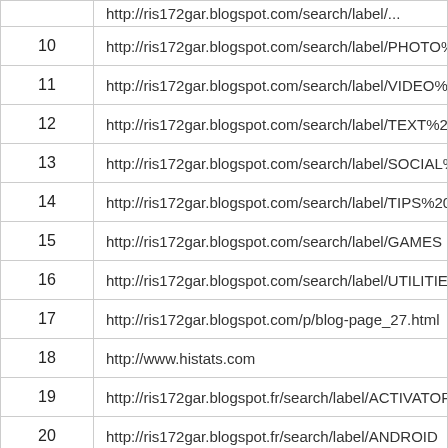| # | URL |
| --- | --- |
|  | http://ris172gar.blogspot.com/search/label/... |
| 10 | http://ris172gar.blogspot.com/search/label/PHOTO%20E... |
| 11 | http://ris172gar.blogspot.com/search/label/VIDEO%20ED... |
| 12 | http://ris172gar.blogspot.com/search/label/TEXT%20EDIT... |
| 13 | http://ris172gar.blogspot.com/search/label/SOCIAL%20N... |
| 14 | http://ris172gar.blogspot.com/search/label/TIPS%20N%2... |
| 15 | http://ris172gar.blogspot.com/search/label/GAMES |
| 16 | http://ris172gar.blogspot.com/search/label/UTILITIES |
| 17 | http://ris172gar.blogspot.com/p/blog-page_27.html |
| 18 | http://www.histats.com |
| 19 | http://ris172gar.blogspot.fr/search/label/ACTIVATOR |
| 20 | http://ris172gar.blogspot.fr/search/label/ANDROID |